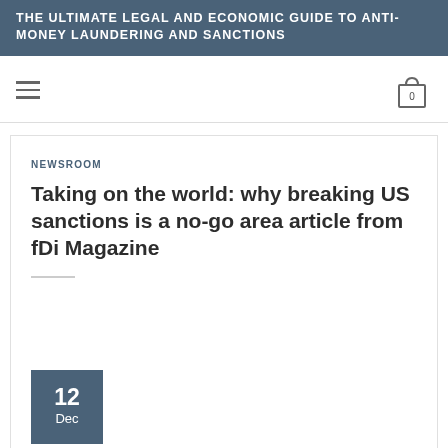THE ULTIMATE LEGAL AND ECONOMIC GUIDE TO ANTI-MONEY LAUNDERING AND SANCTIONS
NEWSROOM
Taking on the world: why breaking US sanctions is a no-go area article from fDi Magazine
12 Dec